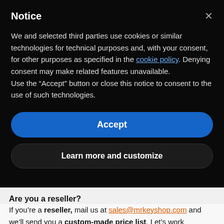Notice
We and selected third parties use cookies or similar technologies for technical purposes and, with your consent, for other purposes as specified in the cookie policy. Denying consent may make related features unavailable.
Use the “Accept” button or close this notice to consent to the use of such technologies.
Accept
Learn more and customize
Are you a reseller?
If you’re a reseller, mail us at sales@mrkeyshop.com and we’ll send you a custom-made price list. Let’s work together!